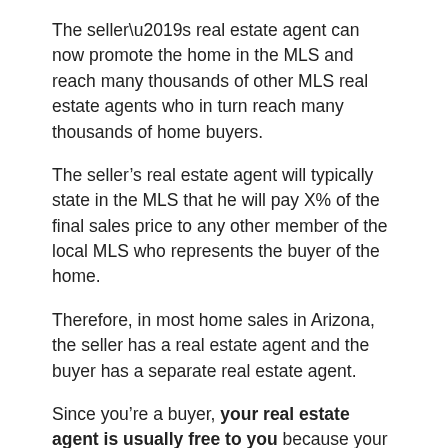The seller’s real estate agent can now promote the home in the MLS and reach many thousands of other MLS real estate agents who in turn reach many thousands of home buyers.
The seller’s real estate agent will typically state in the MLS that he will pay X% of the final sales price to any other member of the local MLS who represents the buyer of the home.
Therefore, in most home sales in Arizona, the seller has a real estate agent and the buyer has a separate real estate agent.
Since you’re a buyer, your real estate agent is usually free to you because your real estate agent will be paid by the seller’s real estate agent.